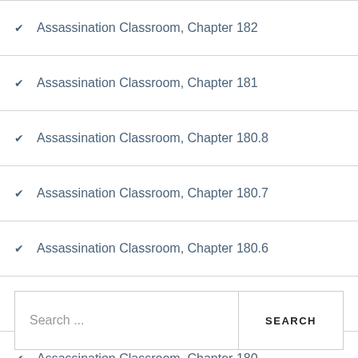Assassination Classroom, Chapter 182
Assassination Classroom, Chapter 181
Assassination Classroom, Chapter 180.8
Assassination Classroom, Chapter 180.7
Assassination Classroom, Chapter 180.6
Assassination Classroom, Chapter 180.5
Assassination Classroom, Chapter 180
Assassination Classroom, Chapter 179
Search ...